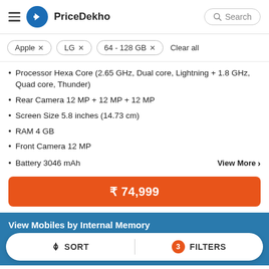PriceDekho
Apple ×
LG ×
64 - 128 GB ×
Clear all
Processor Hexa Core (2.65 GHz, Dual core, Lightning + 1.8 GHz, Quad core, Thunder)
Rear Camera 12 MP + 12 MP + 12 MP
Screen Size 5.8 inches (14.73 cm)
RAM 4 GB
Front Camera 12 MP
Battery 3046 mAh
View More ›
₹ 74,999
View Mobiles by Internal Memory
↕ SORT
3 FILTERS
Under 16 GB
Under 32 GB
Under 64 GB
Under 256